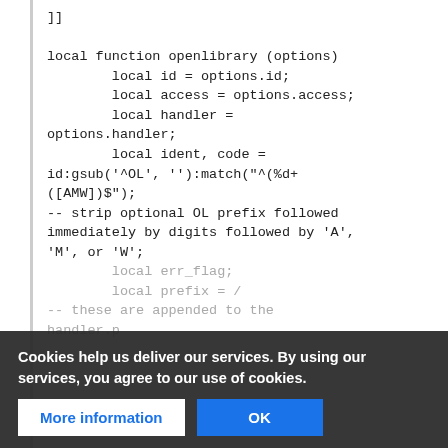code block showing Lua function openlibrary with local variables id, access, handler, ident, code, gsub/match call, and comments about stripping OL prefix
Cookies help us deliver our services. By using our services, you agree to our use of cookies.